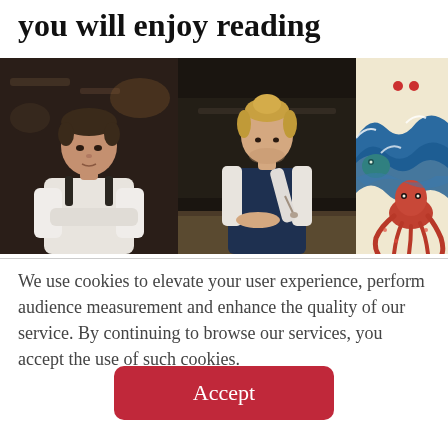you will enjoy reading
[Figure (photo): Three images in a row: first shows a male chef in white apron in a restaurant setting looking at camera; second shows a chef with blond hair up in a bun, wearing a dark apron, plating/decorating a dish with a small tool; third is a colorful illustration of large ocean waves with an octopus in Japanese woodblock print style.]
We use cookies to elevate your user experience, perform audience measurement and enhance the quality of our service. By continuing to browse our services, you accept the use of such cookies.
Accept